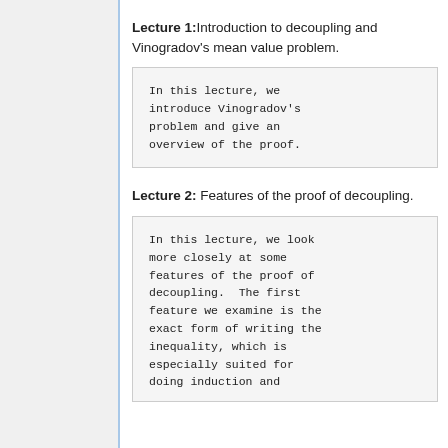Lecture 1: Introduction to decoupling and Vinogradov's mean value problem.
In this lecture, we introduce Vinogradov's problem and give an overview of the proof.
Lecture 2: Features of the proof of decoupling.
In this lecture, we look more closely at some features of the proof of decoupling.  The first feature we examine is the exact form of writing the inequality, which is especially suited for doing induction and